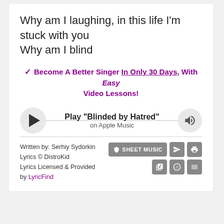Why am I laughing, in this life I'm stuck with you
Why am I blind
✓ Become A Better Singer In Only 30 Days, With Easy Video Lessons!
[Figure (other): Apple Music player widget with play button, track title 'Play "Blinded by Hatred"', subtitle 'on Apple Music', and volume button]
Written by: Serhiy Sydorkin
Lyrics © DistroKid
Lyrics Licensed & Provided by LyricFind